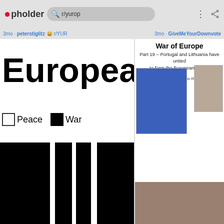pholder  r/yurop
3mo · peterstiglitz · r/YUR   3mo · GiveMeYourDownvote
[Figure (infographic): EU history chart showing 'European' as large text with Peace/War legend and black timeline bar chart from year 1700. Caption: Major conflicts of original EU members]
[Figure (infographic): War of Europe - Part 19 - Portugal and Lithuania have united to form the European Union! President: Marcelo Rebelo de Sousa. Map of Europe in blue and a photo of the president.]
[Figure (photo): Large man shirtless on subway/train holding bag, with Russian flag overlaid on his chest]
There are no doubts...
5mo · Join_the_Ukraine
This is how we will pay off our debts 🏦🏦
1mo · Arexy_ · r/YUROP